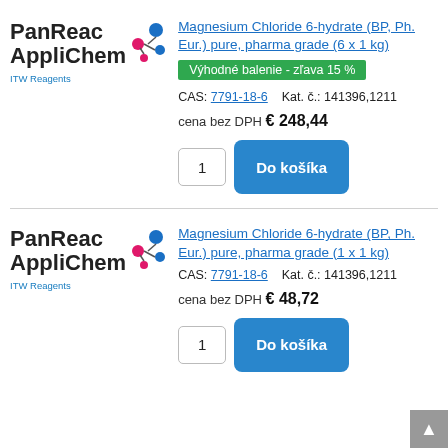[Figure (logo): PanReac AppliChem ITW Reagents logo with blue/pink molecular icon]
Magnesium Chloride 6-hydrate (BP, Ph. Eur.) pure, pharma grade (6 x 1 kg)
Výhodné balenie - zľava 15 %
CAS: 7791-18-6    Kat. č.: 141396,1211
cena bez DPH € 248,44
1   Do košíka
[Figure (logo): PanReac AppliChem ITW Reagents logo with blue/pink molecular icon]
Magnesium Chloride 6-hydrate (BP, Ph. Eur.) pure, pharma grade (1 x 1 kg)
CAS: 7791-18-6    Kat. č.: 141396,1211
cena bez DPH € 48,72
1   Do košíka